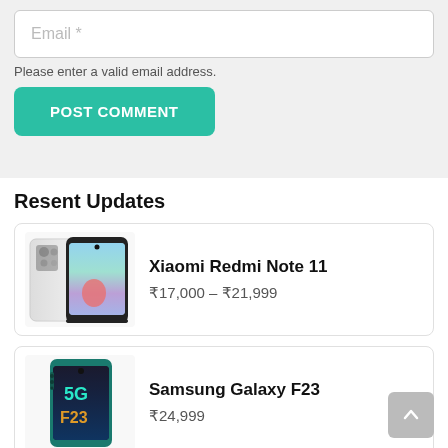Email *
Please enter a valid email address.
POST COMMENT
Resent Updates
[Figure (photo): Xiaomi Redmi Note 11 smartphone shown from front and back]
Xiaomi Redmi Note 11
₹17,000 – ₹21,999
[Figure (photo): Samsung Galaxy F23 5G smartphone shown from front]
Samsung Galaxy F23
₹24,999